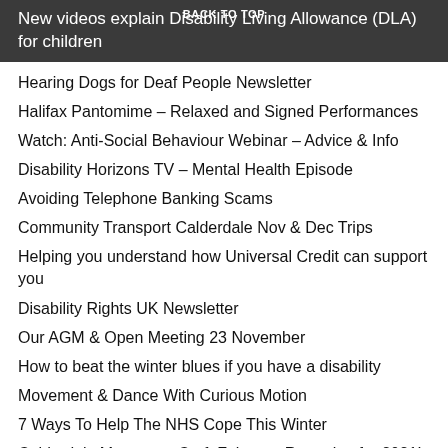BACK TO TOP
New videos explain Disability Living Allowance (DLA) for children
Hearing Dogs for Deaf People Newsletter
Halifax Pantomime – Relaxed and Signed Performances
Watch: Anti-Social Behaviour Webinar – Advice & Info
Disability Horizons TV – Mental Health Episode
Avoiding Telephone Banking Scams
Community Transport Calderdale Nov & Dec Trips
Helping you understand how Universal Credit can support you
Disability Rights UK Newsletter
Our AGM & Open Meeting 23 November
How to beat the winter blues if you have a disability
Movement & Dance With Curious Motion
7 Ways To Help The NHS Cope This Winter
Calderdale Museums: Craft Fairs are Returning for 2021!
Macular Society November Newsletter
Our Hate Crime "Webinar" 11 November